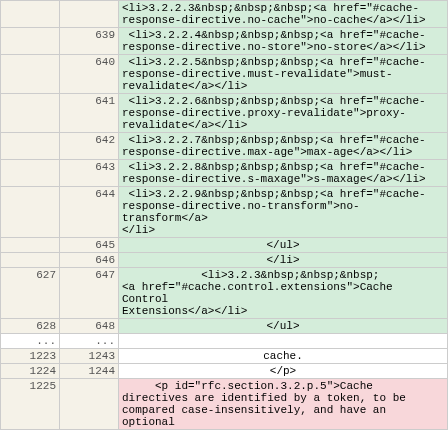|  |  | code |
| --- | --- | --- |
|  | 639 | <li>3.2.2.4&nbsp;&nbsp;&nbsp;<a href="#cache-response-directive.no-store">no-store</a></li> |
|  | 640 | <li>3.2.2.5&nbsp;&nbsp;&nbsp;<a href="#cache-response-directive.must-revalidate">must-revalidate</a></li> |
|  | 641 | <li>3.2.2.6&nbsp;&nbsp;&nbsp;<a href="#cache-response-directive.proxy-revalidate">proxy-revalidate</a></li> |
|  | 642 | <li>3.2.2.7&nbsp;&nbsp;&nbsp;<a href="#cache-response-directive.max-age">max-age</a></li> |
|  | 643 | <li>3.2.2.8&nbsp;&nbsp;&nbsp;<a href="#cache-response-directive.s-maxage">s-maxage</a></li> |
|  | 644 | <li>3.2.2.9&nbsp;&nbsp;&nbsp;<a href="#cache-response-directive.no-transform">no-transform</a></li> |
|  | 645 | </ul> |
|  | 646 | </li> |
| 627 | 647 | <li>3.2.3&nbsp;&nbsp;&nbsp;<a href="#cache.control.extensions">Cache Control Extensions</a></li> |
| 628 | 648 | </ul> |
| ... | ... |  |
| 1223 | 1243 | cache. |
| 1224 | 1244 | </p> |
| 1225 |  | <p id="rfc.section.3.2.p.5">Cache directives are identified by a token, to be compared case-insensitively, and have an optional |